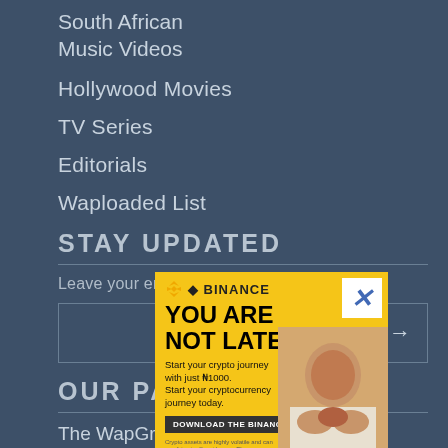South African
Music Videos
Hollywood Movies
TV Series
Editorials
Waploaded List
STAY UPDATED
Leave your email to receive our newsletter
OUR PARTNE
The WapGroup
Waptutors Academy
[Figure (screenshot): Binance advertisement banner with yellow background. Shows 'YOU ARE NOT LATE.' headline, text about starting crypto journey with just N1000, a download button, and a photo of a woman with hands over mouth.]